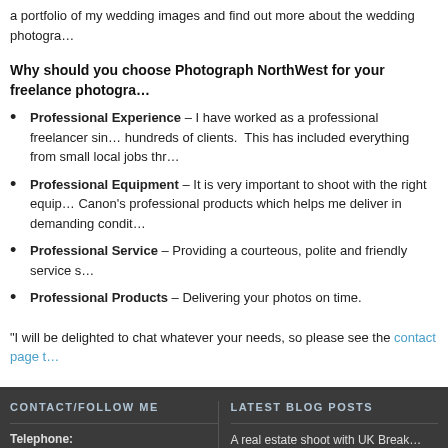a portfolio of my wedding images and find out more about the wedding photogra...
Why should you choose Photograph NorthWest for your freelance photogra...
Professional Experience – I have worked as a professional freelancer sin... hundreds of clients. This has included everything from small local jobs thr...
Professional Equipment – It is very important to shoot with the right equip... Canon's professional products which helps me deliver in demanding condit...
Professional Service – Providing a courteous, polite and friendly service s...
Professional Products – Delivering your photos on time.
"I will be delighted to chat whatever your needs, so please see the contact page t...
CONTACT/FOLLOW ME | Telephone: 07770-520000 | Email: Send me an email | Site contact: | LATEST BLOG POSTS | A real estate shoot with UK Break... | 2021 Photography courses contin... | Spring 2021 Photography course...